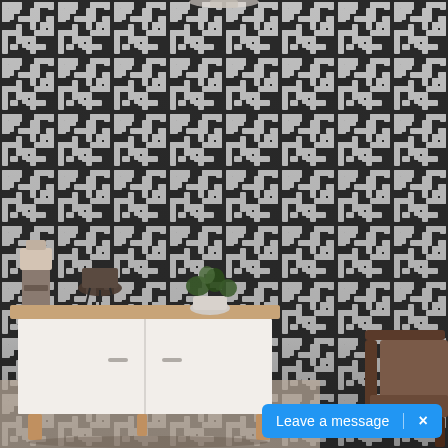[Figure (photo): Interior room photo showing a wall covered in a bold black and white geometric maze/labyrinth pattern wallpaper. In the foreground, a modern white credenza/sideboard with natural wood legs and top, a decorative lamp, a small potted plant, and the partial view of a dark wood chair. A blue chat bubble in the bottom-right corner reads 'Leave a message' with an X close button.]
Leave a message   ×